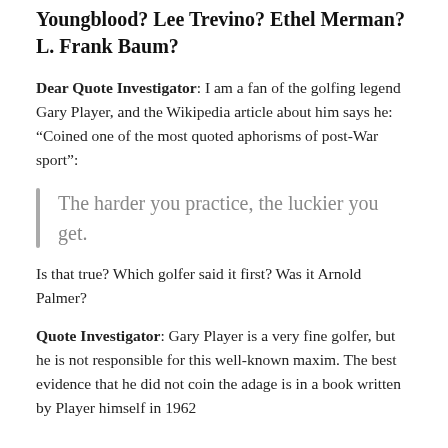Youngblood? Lee Trevino? Ethel Merman? L. Frank Baum?
Dear Quote Investigator: I am a fan of the golfing legend Gary Player, and the Wikipedia article about him says he: “Coined one of the most quoted aphorisms of post-War sport”:
The harder you practice, the luckier you get.
Is that true? Which golfer said it first? Was it Arnold Palmer?
Quote Investigator: Gary Player is a very fine golfer, but he is not responsible for this well-known maxim. The best evidence that he did not coin the adage is in a book written by Player himself in 1962